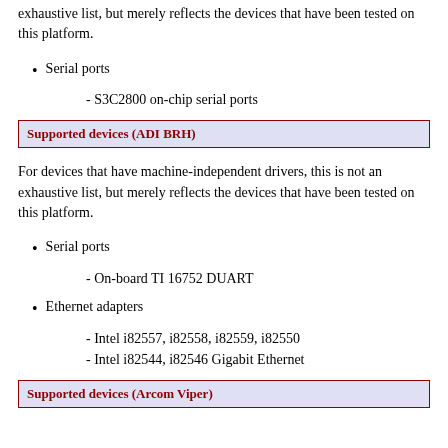exhaustive list, but merely reflects the devices that have been tested on this platform.
Serial ports
- S3C2800 on-chip serial ports
Supported devices (ADI BRH)
For devices that have machine-independent drivers, this is not an exhaustive list, but merely reflects the devices that have been tested on this platform.
Serial ports
- On-board TI 16752 DUART
Ethernet adapters
- Intel i82557, i82558, i82559, i82550
- Intel i82544, i82546 Gigabit Ethernet
Supported devices (Arcom Viper)